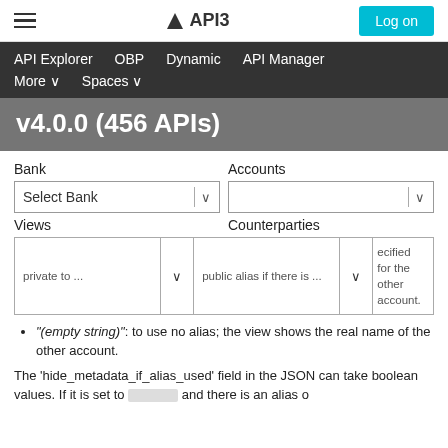≡  ▲ API3  [Log on]
API Explorer  OBP  Dynamic  API Manager  More ∨  Spaces ∨
v4.0.0 (456 APIs)
Bank   Accounts
Select Bank [dropdown]   [dropdown]
Views   Counterparties
private to ... public alias if there is ... ecified for the other account.
"(empty string)": to use no alias; the view shows the real name of the other account.
The 'hide_metadata_if_alias_used' field in the JSON can take boolean values. If it is set to [redacted] and there is an alias o